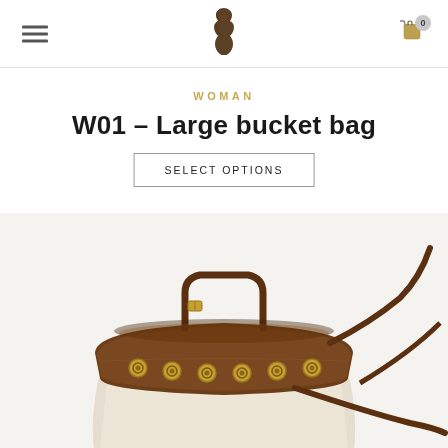Navigation header with hamburger menu, brand logo, and cart icon with badge 0
WOMAN
W01 – Large bucket bag
SELECT OPTIONS
[Figure (photo): Large brown leather bucket bag with gold eyelet hardware around the top band, shown from above at an angle, with a crossbody strap visible. The bag has a canvas/linen lower body and a rich brown leather top band with circular gold grommets.]